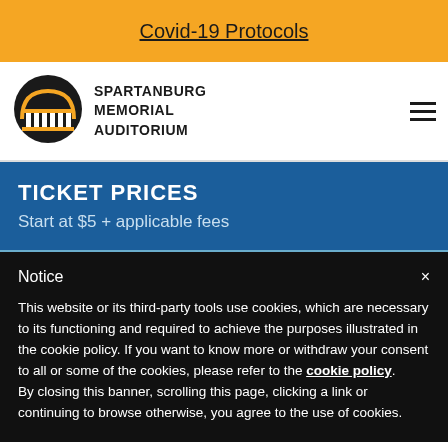Covid-19 Protocols
[Figure (logo): Spartanburg Memorial Auditorium logo: circular black arch emblem with columns]
SPARTANBURG MEMORIAL AUDITORIUM
TICKET PRICES
Start at $5 + applicable fees
Notice
This website or its third-party tools use cookies, which are necessary to its functioning and required to achieve the purposes illustrated in the cookie policy. If you want to know more or withdraw your consent to all or some of the cookies, please refer to the cookie policy. By closing this banner, scrolling this page, clicking a link or continuing to browse otherwise, you agree to the use of cookies.